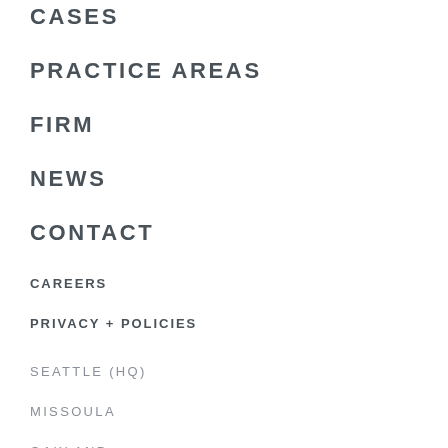CASES
PRACTICE AREAS
FIRM
NEWS
CONTACT
CAREERS
PRIVACY + POLICIES
SEATTLE (HQ)
MISSOULA
OAKLAND
NEW YORK